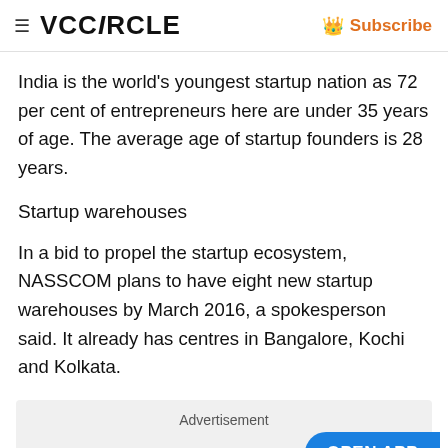≡ VCCiRCLE  Subscribe
India is the world's youngest startup nation as 72 per cent of entrepreneurs here are under 35 years of age. The average age of startup founders is 28 years.
Startup warehouses
In a bid to propel the startup ecosystem, NASSCOM plans to have eight new startup warehouses by March 2016, a spokesperson said. It already has centres in Bangalore, Kochi and Kolkata.
Advertisement